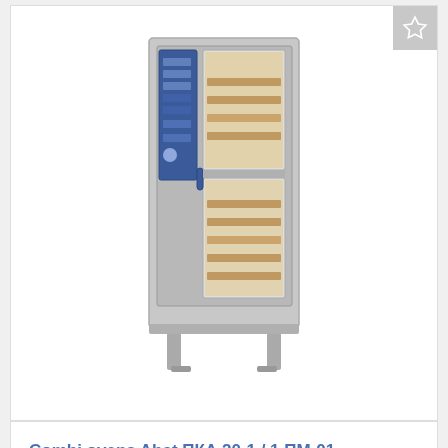[Figure (photo): Industrial combi oven (Abat brand) on legs, stainless steel with blue control panel and glass door showing multiple trays inside]
Combi ovens Abat ПКА 20-1 / 1 ПМ-01
1 Р.
0.02$
0.02€
Combi-steamers
Cheboksary
[Figure (photo): Industrial steam oven or boiler unit, stainless steel, partially visible at bottom of page]